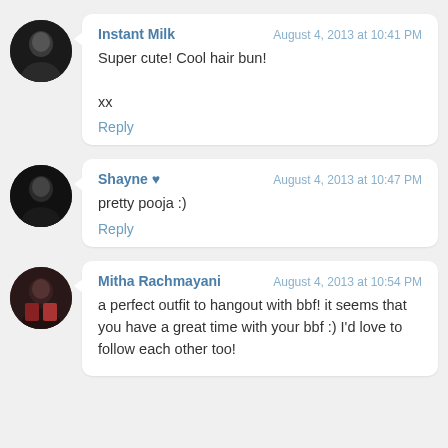Instant Milk — August 4, 2013 at 10:41 PM — Super cute! Cool hair bun!

xx

Reply
Shayne ♥ — August 4, 2013 at 10:47 PM — pretty pooja :)

Reply
Mitha Rachmayani — August 4, 2013 at 10:54 PM — a perfect outfit to hangout with bbf! it seems that you have a great time with your bbf :) I'd love to follow each other too!